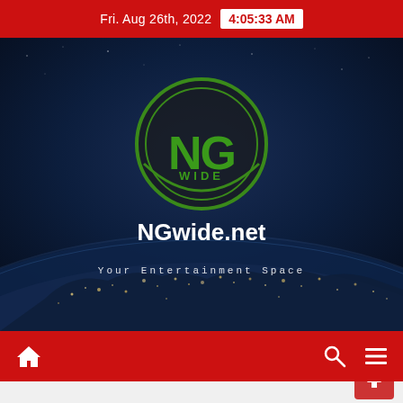Fri. Aug 26th, 2022  4:05:33 AM
[Figure (screenshot): NGwide.net website hero section showing the NG Wide logo (green NG letters inside a green circle with 'WIDE' text) on a dark blue Earth-from-space background with city lights visible. Text 'NGwide.net' and 'Your Entertainment Space' displayed.]
NGwide.net
Your Entertainment Space
Navigation bar with home, search, and menu icons